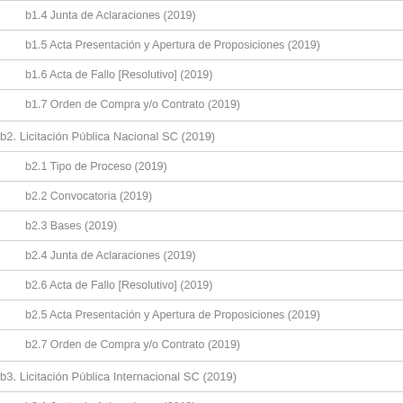b1.4 Junta de Aclaraciones (2019)
b1.5 Acta Presentación y Apertura de Proposiciones (2019)
b1.6 Acta de Fallo [Resolutivo] (2019)
b1.7 Orden de Compra y/o Contrato (2019)
b2. Licitación Pública Nacional SC (2019)
b2.1 Tipo de Proceso (2019)
b2.2 Convocatoria (2019)
b2.3 Bases (2019)
b2.4 Junta de Aclaraciones (2019)
b2.6 Acta de Fallo [Resolutivo] (2019)
b2.5 Acta Presentación y Apertura de Proposiciones (2019)
b2.7 Orden de Compra y/o Contrato (2019)
b3. Licitación Pública Internacional SC (2019)
b3.1 Junta de Aclaraciones (2019)